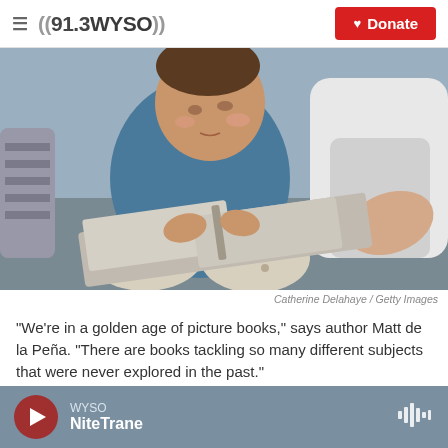((91.3 WYSO))  Donate
[Figure (photo): A toddler in a blue shirt and patterned pants sitting on a grey couch looking at a board book, with an adult's arm reaching in from the right side of the frame. Background has a blue-grey wall.]
Catherine Delahaye / Getty Images
"We're in a golden age of picture books," says author Matt de la Peña. "There are books tackling so many different subjects that were never explored in the past."
WYSO NiteTrane